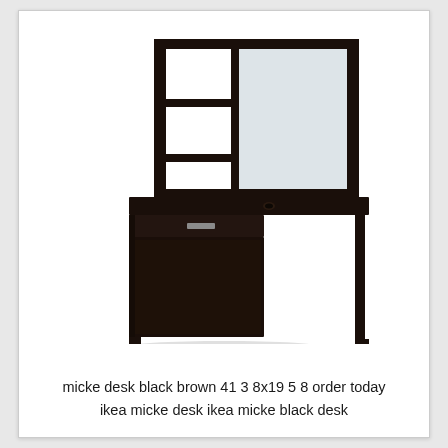[Figure (photo): Product photo of an IKEA MICKE desk in black-brown color. The desk has a hutch/shelf unit on top with open shelves on the left side and a frosted glass panel on the right. The desk surface is dark brown/black with a cable management hole. Below the desk surface is a drawer on the left and a cabinet door with a metal handle, plus an open leg space on the right. The desk stands on metal legs.]
micke desk black brown 41 3 8x19 5 8 order today ikea micke desk ikea micke black desk